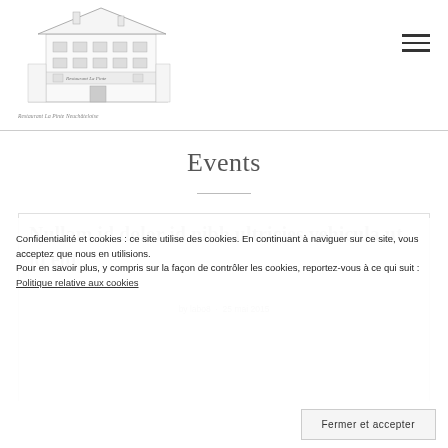[Figure (illustration): Sketch illustration of Restaurant La Pinte building exterior, showing a multi-story Swiss-style building with text 'Restaurant La Pinte' on the facade. Below the sketch is the caption 'Restaurant La Pinte Neuchâteloise'.]
Events
Nullam id dolor id nibh ultricies vehicula ut id elit
by labo8 · 25 mai 2015
Confidentialité et cookies : ce site utilise des cookies. En continuant à naviguer sur ce site, vous acceptez que nous en utilisions. Pour en savoir plus, y compris sur la façon de contrôler les cookies, reportez-vous à ce qui suit : Politique relative aux cookies
Fermer et accepter